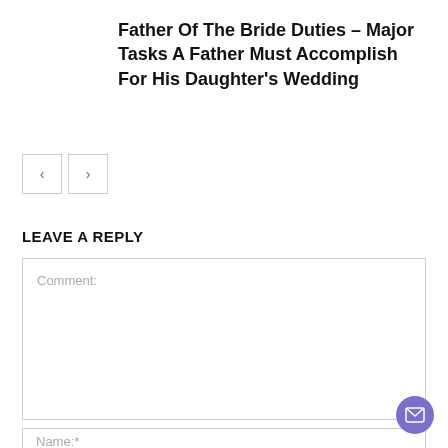Father Of The Bride Duties – Major Tasks A Father Must Accomplish For His Daughter's Wedding
[Figure (other): Navigation previous and next arrow buttons]
LEAVE A REPLY
Comment:
Name:*